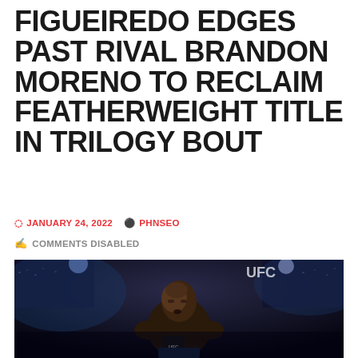FIGUEIREDO EDGES PAST RIVAL BRANDON MORENO TO RECLAIM FEATHERWEIGHT TITLE IN TRILOGY BOUT
JANUARY 24, 2022  PHNSEO
COMMENTS DISABLED
[Figure (photo): UFC fighter Deiveson Figueiredo celebrating in the octagon, wearing UFC gloves, with arena crowd and blue lighting in the background]